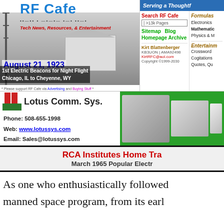[Figure (logo): RF Cafe logo with radio tower, morse code dots/dashes, tagline 'Tech News, Resources, & Entertainment', date August 21, 1923, caption '1st Electric Beacons for Night Flight Chicago, IL to Cheyenne, WY']
* Please support RF Cafe via Advertising and Buying Stuff *
Serving a Thoughtf...
Search RF Cafe
>13k Pages
Sitemap Blog
Homepage Archive
Formulas
Electronics
Mathematics
Physics & M...
Kirt Blattenberger
KB3UON | AMA92498
KirtRFC@aol.com
Copyright ©1999-2030
Entertainm...
Crossword
Cogitations
Quotes, Qu...
[Figure (logo): Lotus Comm. Sys. advertisement with logo, phone 508-655-1998, web www.lotussys.com, email Sales@lotussys.com, photos of RF components on green background]
RCA Institutes Home Tra...
March 1965 Popular Electr...
As one who enthusiastically followed

manned space program, from its earl...